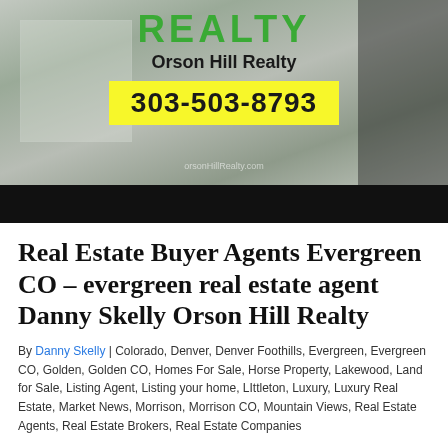[Figure (photo): Banner image for Orson Hill Realty showing a blurred interior room background with text overlay: 'REALTY' in green letters, 'Orson Hill Realty' in bold black, and phone number '303-503-8793' in a yellow highlighted box. Watermark 'orsonHillRealty.com' at bottom.]
Real Estate Buyer Agents Evergreen CO – evergreen real estate agent Danny Skelly Orson Hill Realty
By Danny Skelly | Colorado, Denver, Denver Foothills, Evergreen, Evergreen CO, Golden, Golden CO, Homes For Sale, Horse Property, Lakewood, Land for Sale, Listing Agent, Listing your home, LIttleton, Luxury, Luxury Real Estate, Market News, Morrison, Morrison CO, Mountain Views, Real Estate Agents, Real Estate Brokers, Real Estate Companies